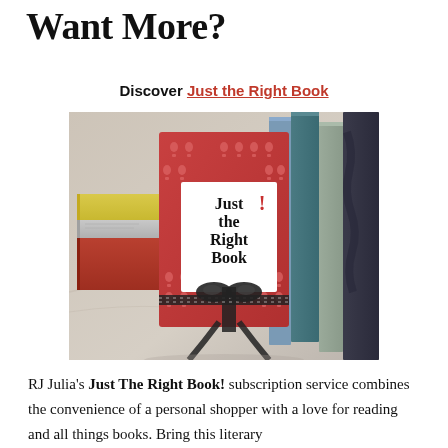Want More?
Discover Just the Right Book
[Figure (photo): A wrapped gift package labeled 'Just the Right Book' with a red and white exclamation-mark pattern cover, tied with a black and white dotted ribbon bow, surrounded by stacked books on a light marble surface.]
RJ Julia's Just The Right Book! subscription service combines the convenience of a personal shopper with a love for reading and all things books. Bring this literary